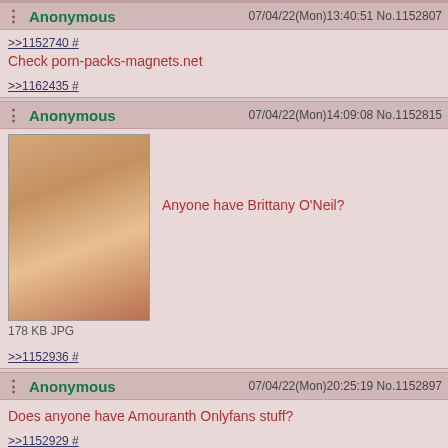Anonymous 07/04/22(Mon)13:40:51 No.1152807
>>1152740 #
Check porn-packs-magnets.net
>>1162435 #
Anonymous 07/04/22(Mon)14:09:08 No.1152815
[Figure (photo): Blonde woman in pink lingerie, 178 KB JPG]
Anyone have Brittany O'Neil?
>>1152936 #
Anonymous 07/04/22(Mon)20:25:19 No.1152897
Does anyone have Amouranth Onlyfans stuff?
>>1152929 #
Anonymous 07/04/22(Mon)21:56:04 No.1152927